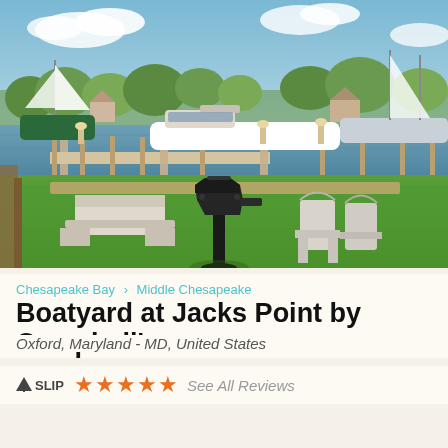[Figure (photo): Marina scene showing a green lawn with a black grill on a post in the foreground, picnic tables, adirondack chairs, boat docks with sailboats and motor boats in the background, blue sky with clouds, trees in the distance.]
Chesapeake Bay > Middle Chesapeake
Boatyard at Jacks Point by Campbell's
Oxford, Maryland - MD, United States
SLIP ★★★★★ See All Reviews